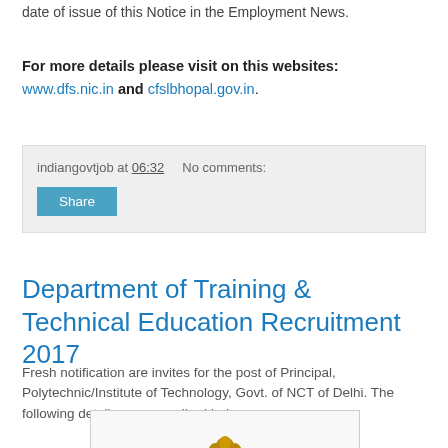date of issue of this Notice in the Employment News.
For more details please visit on this websites: www.dfs.nic.in and cfslbhopal.gov.in.
indiangovtjob at 06:32   No comments:
Share
Department of Training & Technical Education Recruitment 2017
Fresh notification are invites for the post of Principal, Polytechnic/Institute of Technology, Govt. of NCT of Delhi. The following details are prescribed below.
[Figure (logo): delhi.gov.in logo with lion emblem and red text]